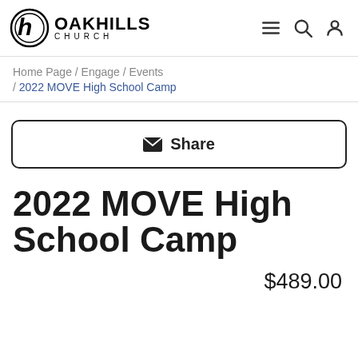OAK HILLS CHURCH
Home Page / Engage / Events / 2022 MOVE High School Camp
✉ Share
2022 MOVE High School Camp
$489.00